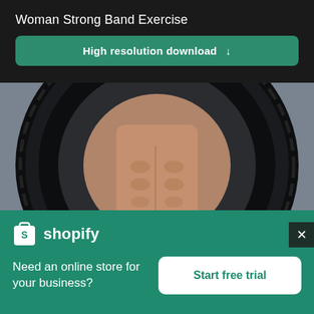Woman Strong Band Exercise
High resolution download ↓
[Figure (photo): A muscular person holding a large black tractor tire, viewed from behind through the tire hole, against a grey background.]
[Figure (logo): Shopify logo: white shopping bag icon with 'S' and white text 'shopify']
Need an online store for your business?
Start free trial